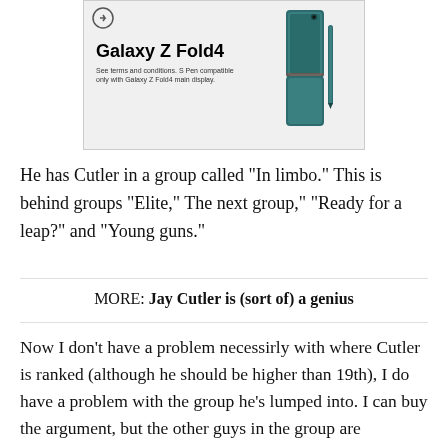[Figure (advertisement): Samsung Galaxy Z Fold4 advertisement showing the phone with S Pen. Text reads 'Galaxy Z Fold4' with fine print 'See terms and conditions. S Pen compatible only with Galaxy Z Fold4 main display.']
He has Cutler in a group called "In limbo." This is behind groups "Elite," The next group," "Ready for a leap?" and "Young guns."
MORE: Jay Cutler is (sort of) a genius
Now I don't have a problem necessirly with where Cutler is ranked (although he should be higher than 19th), I do have a problem with the group he's lumped into. I can buy the argument, but the other guys in the group are Freeman, Bradford, Philip Rivers and Matt